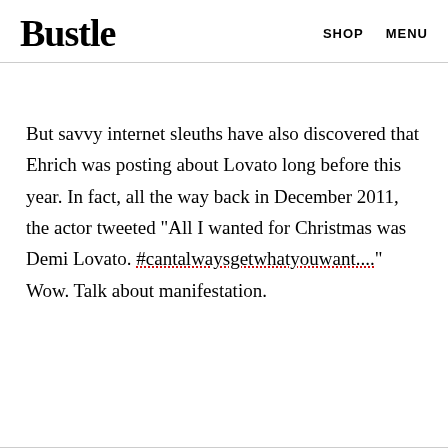Bustle   SHOP   MENU
But savvy internet sleuths have also discovered that Ehrich was posting about Lovato long before this year. In fact, all the way back in December 2011, the actor tweeted "All I wanted for Christmas was Demi Lovato. #cantalwaysgetwhatyouwant...." Wow. Talk about manifestation.